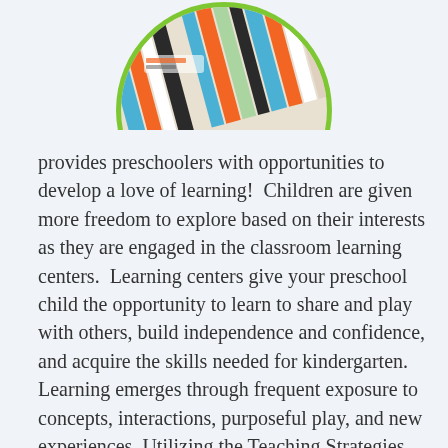[Figure (photo): Circular photo with green border showing school/art supplies — pencils, markers, and colorful items — viewed from above. Only the top portion of the circle is visible at the top of the page.]
provides preschoolers with opportunities to develop a love of learning!  Children are given more freedom to explore based on their interests as they are engaged in the classroom learning centers.  Learning centers give your preschool child the opportunity to learn to share and play with others, build independence and confidence, and acquire the skills needed for kindergarten.  Learning emerges through frequent exposure to concepts, interactions, purposeful play, and new experiences. Utilizing the Teaching Strategies curriculum, our teachers complete daily observations and authentic assessment to guide lesson plans and activities while ensuring that